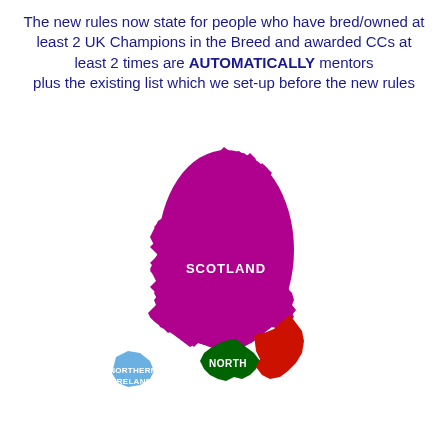The new rules now state for people who have bred/owned at least 2 UK Champions in the Breed and awarded CCs at least 2 times are AUTOMATICALLY mentors plus the existing list which we set-up before the new rules
[Figure (map): Simplified color-coded map of Great Britain and Northern Ireland showing regions: Scotland (purple/magenta), North (dark green), Northern England east (red), Northern Ireland (light blue). Labels: SCOTLAND, NORTH, NORTHERN IRELAND visible.]